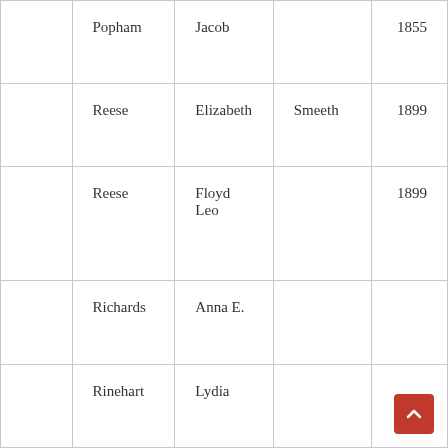|  | Popham | Jacob |  | 1855 |
|  | Reese | Elizabeth | Smeeth | 1899 |
|  | Reese | Floyd Leo |  | 1899 |
|  | Richards | Anna E. |  |  |
|  | Rinehart | Lydia |  |  |